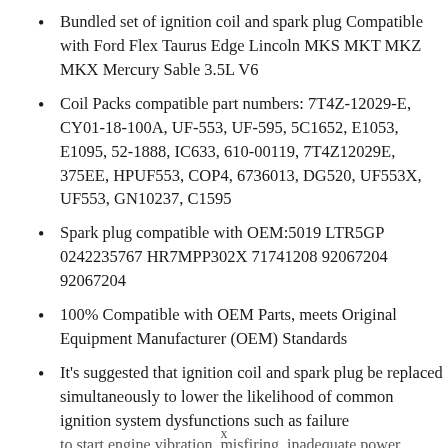Bundled set of ignition coil and spark plug Compatible with Ford Flex Taurus Edge Lincoln MKS MKT MKZ MKX Mercury Sable 3.5L V6
Coil Packs compatible part numbers: 7T4Z-12029-E, CY01-18-100A, UF-553, UF-595, 5C1652, E1053, E1095, 52-1888, IC633, 610-00119, 7T4Z12029E, 375EE, HPUF553, COP4, 6736013, DG520, UF553X, UF553, GN10237, C1595
Spark plug compatible with OEM:5019 LTR5GP 0242235767 HR7MPP302X 71741208 92067204 92067204
100% Compatible with OEM Parts, meets Original Equipment Manufacturer (OEM) Standards
It's suggested that ignition coil and spark plug be replaced simultaneously to lower the likelihood of common ignition system dysfunctions such as failure to start, engine vibration, misfiring, inadequate power...
x